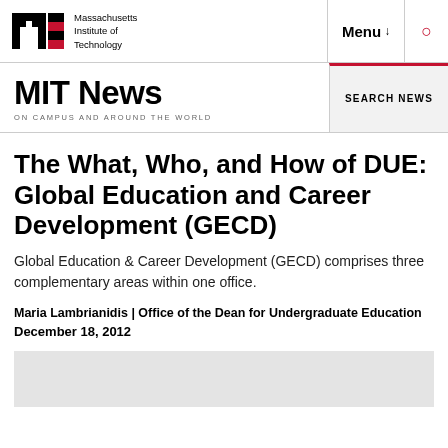Massachusetts Institute of Technology | Menu | Search
MIT News | ON CAMPUS AND AROUND THE WORLD | SEARCH NEWS
The What, Who, and How of DUE: Global Education and Career Development (GECD)
Global Education & Career Development (GECD) comprises three complementary areas within one office.
Maria Lambrianidis | Office of the Dean for Undergraduate Education
December 18, 2012
[Figure (other): Gray image placeholder at the bottom of the page]